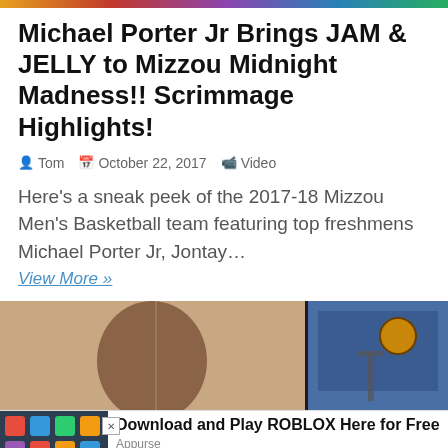Michael Porter Jr Brings JAM & JELLY to Mizzou Midnight Madness!! Scrimmage Highlights!
Tom  October 22, 2017  Video
Here’s a sneak peek of the 2017-18 Mizzou Men’s Basketball team featuring top freshmens Michael Porter Jr, Jontay…
View More »
[Figure (photo): Basketball player close-up on left, player dunking near basketball hoop on right, with b badge overlay and TOP badge]
Download and Play ROBLOX Here for Free
Appurse
Sponsored